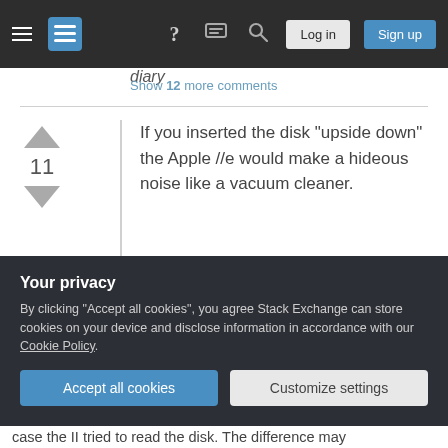Stack Exchange navigation bar with hamburger menu, logo, help, chat, search icons, Log in and Sign up buttons
Show 12 more comments
If you inserted the disk "upside down" the Apple //e would make a hideous noise like a vacuum cleaner.
Not sure what the 'vacuumer sound' should be. could it be that you're refering to the way the drive returns - and calibrates - to track. I would rather case the II tried to read the disk. The difference may
Your privacy
By clicking "Accept all cookies", you agree Stack Exchange can store cookies on your device and disclose information in accordance with our Cookie Policy.
Accept all cookies
Customize settings